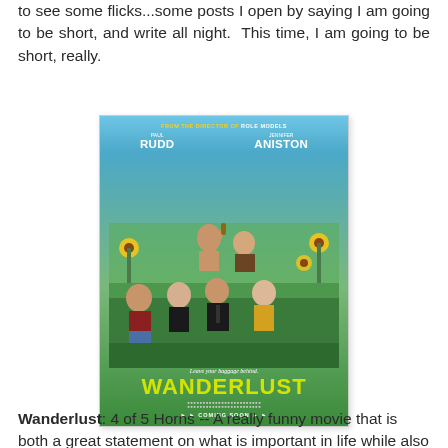to see some flicks...some posts I open by saying I am going to be short, and write all night.  This time, I am going to be short, really.
[Figure (photo): Movie poster for 'Wanderlust' featuring Paul Rudd and Jennifer Aniston. The poster shows a group of people sitting outdoors among sunflowers and greenery. Tagline reads 'Leave your baggage behind.' Text at top reads 'FROM THE DIRECTOR OF ROLE MODELS'. Bottom shows 'WANDERLUST' in large yellow letters and 'COMING SOON'.]
Wanderlust: 4 of 5 Horns -- A really funny movie that is both a great statement on what is important in life while also being